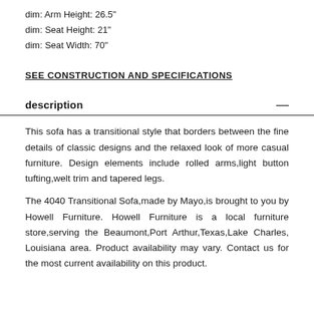dim: Arm Height: 26.5"
dim: Seat Height: 21"
dim: Seat Width: 70"
SEE CONSTRUCTION AND SPECIFICATIONS
description
This sofa has a transitional style that borders between the fine details of classic designs and the relaxed look of more casual furniture. Design elements include rolled arms,light button tufting,welt trim and tapered legs.
The 4040 Transitional Sofa,made by Mayo,is brought to you by Howell Furniture. Howell Furniture is a local furniture store,serving the Beaumont,Port Arthur,Texas,Lake Charles, Louisiana area. Product availability may vary. Contact us for the most current availability on this product.